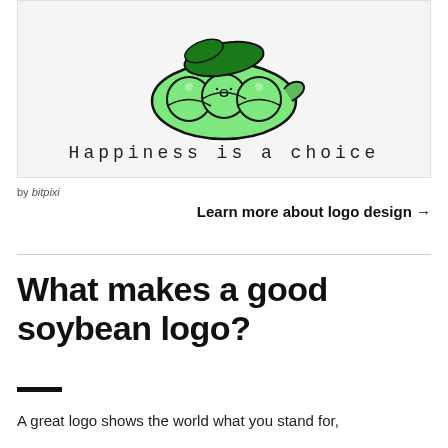[Figure (illustration): Cartoon green soybean pod character with a happy face, and decorative text below reading 'Happiness is a choice' in a quirky monospace-style font]
by bitpixi
Learn more about logo design →
What makes a good soybean logo?
A great logo shows the world what you stand for,